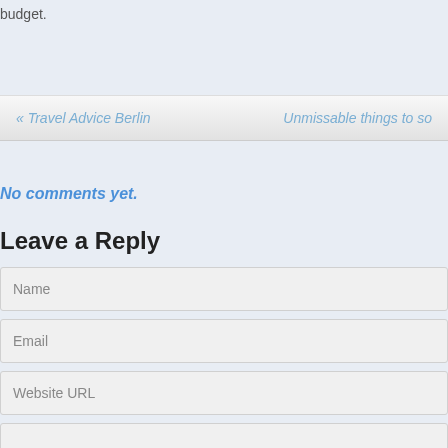budget.
« Travel Advice Berlin
Unmissable things to s…
No comments yet.
Leave a Reply
Name
Email
Website URL